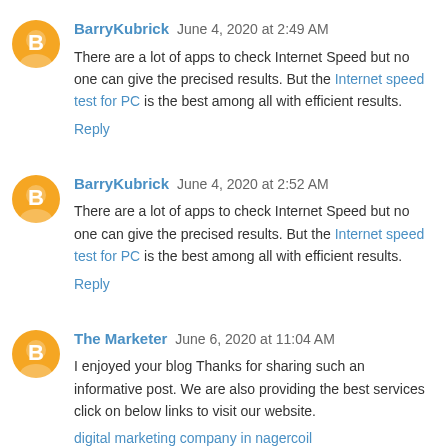BarryKubrick  June 4, 2020 at 2:49 AM
There are a lot of apps to check Internet Speed but no one can give the precised results. But the Internet speed test for PC is the best among all with efficient results.
Reply
BarryKubrick  June 4, 2020 at 2:52 AM
There are a lot of apps to check Internet Speed but no one can give the precised results. But the Internet speed test for PC is the best among all with efficient results.
Reply
The Marketer  June 6, 2020 at 11:04 AM
I enjoyed your blog Thanks for sharing such an informative post. We are also providing the best services click on below links to visit our website.
digital marketing company in nagercoil